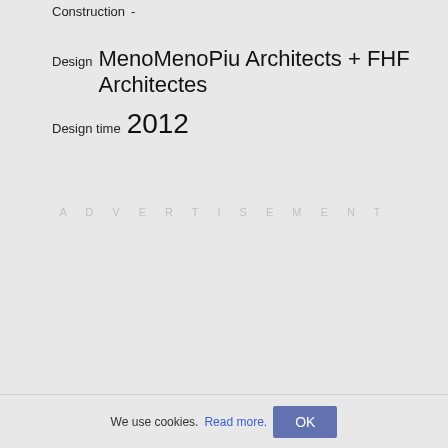Construction -
Design MenoMenoPiu Architects + FHF Architectes
Design time 2012
ADVERTISEMENT
We use cookies. Read more. OK